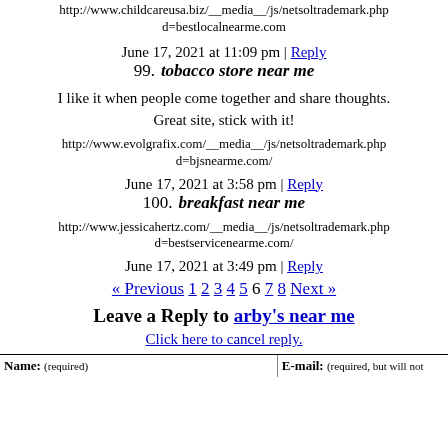http://www.childcareusa.biz/__media__/js/netsoltrademark.php d=bestlocalnearme.com
June 17, 2021 at 11:09 pm | Reply
99. tobacco store near me
I like it when people come together and share thoughts. Great site, stick with it!
http://www.evolgrafix.com/__media__/js/netsoltrademark.php d=bjsnearme.com/
June 17, 2021 at 3:58 pm | Reply
100. breakfast near me
http://www.jessicahertz.com/__media__/js/netsoltrademark.php d=bestservicenearme.com/
June 17, 2021 at 3:49 pm | Reply
« Previous 1 2 3 4 5 6 7 8 Next »
Leave a Reply to arby's near me
Click here to cancel reply.
| Name: (required) | E-mail: (required, but will not…) |
| --- | --- |